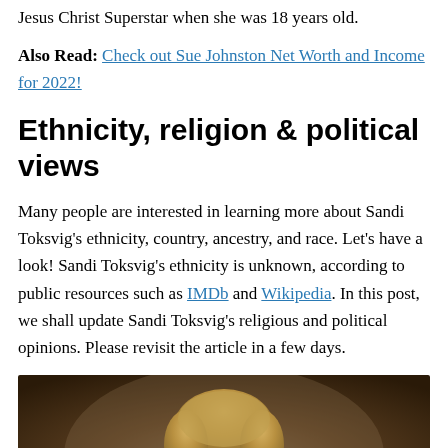Jesus Christ Superstar when she was 18 years old.
Also Read: Check out Sue Johnston Net Worth and Income for 2022!
Ethnicity, religion & political views
Many people are interested in learning more about Sandi Toksvig's ethnicity, country, ancestry, and race. Let's have a look! Sandi Toksvig's ethnicity is unknown, according to public resources such as IMDb and Wikipedia. In this post, we shall update Sandi Toksvig's religious and political opinions. Please revisit the article in a few days.
[Figure (photo): Portrait photo of a woman with short blonde hair against a dark brown background]